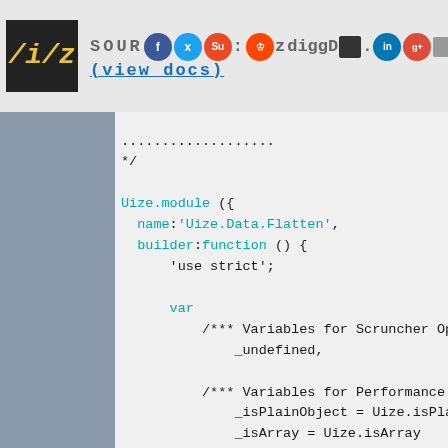SOURCE CODE : (view docs)
*/

Uize.module ({
	name:'Uize.Data.Flatten',
	builder:function () {
		'use strict';

		var
			/*** Variables for Scruncher Optimization ***
				_undefined,

			/*** Variables for Performance Optimization ***
				_isPlainObject = Uize.isPlainObject,
				_isArray = Uize.isArray
		;

		/*** Utility Functions ***/
			function _makeDelimiterBasedPathToKeyTransfo
				return function (_path) {return _path.join
			}

			function _makeDelimiterBasedKeyToPathTransfo
				return function (_key) {return _key.split
			}